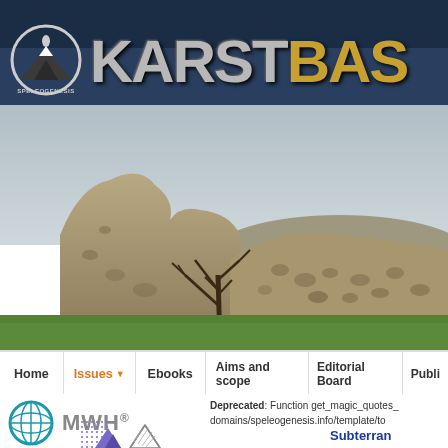[Figure (logo): KarstBase / Speleogenesis website header with logo (globe+mountain icon, SPELEOGENESIS text) and KARSTBAS branding text in silver and gold on dark blue background]
[Figure (photo): Landscape photo of karst rock formations with a bare tree in the foreground and green grass, limestone cliffs with honeycomb weathering patterns]
Home | Issues | Ebooks | Aims and scope | Editorial Board | Publi...
Deprecated: Function get_magic_quotes_ domains/speleogenesis.info/template/to
Subterran...